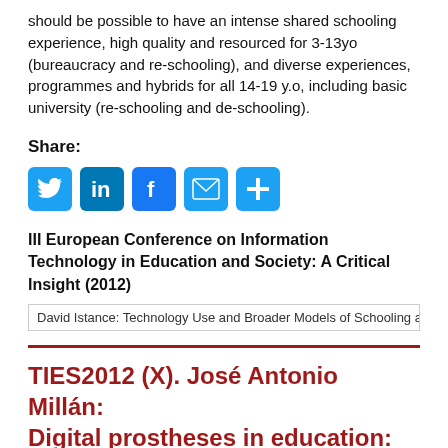should be possible to have an intense shared schooling experience, high quality and resourced for 3-13yo (bureaucracy and re-schooling), and diverse experiences, programmes and hybrids for all 14-19 y.o, including basic university (re-schooling and de-schooling).
Share:
[Figure (infographic): Five social sharing icon buttons: Twitter (blue bird), LinkedIn (blue 'in'), Facebook (blue 'f'), Email (blue envelope), and a blue plus/more button]
III European Conference on Information Technology in Education and Society: A Critical Insight (2012)
David Istance: Technology Use and Broader Models of Schooling and L
TIES2012 (X). José Antonio Millán: Digital prostheses in education: